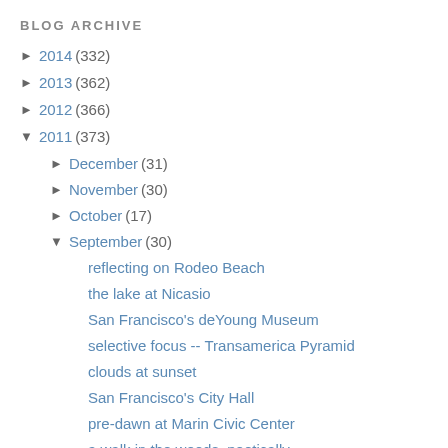BLOG ARCHIVE
► 2014 (332)
► 2013 (362)
► 2012 (366)
▼ 2011 (373)
► December (31)
► November (30)
► October (17)
▼ September (30)
reflecting on Rodeo Beach
the lake at Nicasio
San Francisco's deYoung Museum
selective focus -- Transamerica Pyramid
clouds at sunset
San Francisco's City Hall
pre-dawn at Marin Civic Center
a walk in the woods, poetically